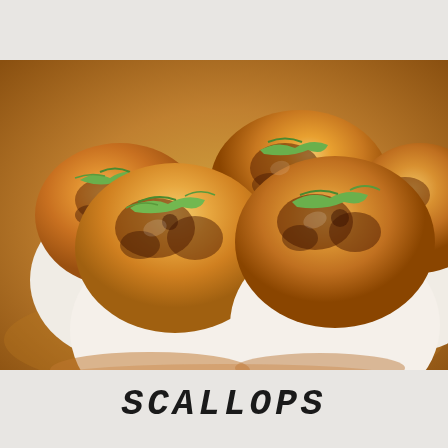[Figure (photo): Close-up photo of seared scallops with golden-brown caramelized tops, garnished with sliced green onions, sitting in a golden-brown sauce on a white plate]
SCALLOPS